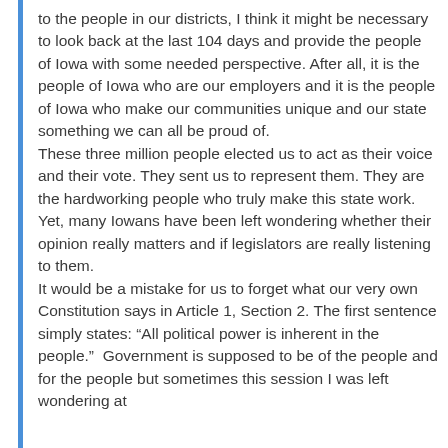to the people in our districts, I think it might be necessary to look back at the last 104 days and provide the people of Iowa with some needed perspective. After all, it is the people of Iowa who are our employers and it is the people of Iowa who make our communities unique and our state something we can all be proud of. These three million people elected us to act as their voice and their vote. They sent us to represent them. They are the hardworking people who truly make this state work. Yet, many Iowans have been left wondering whether their opinion really matters and if legislators are really listening to them. It would be a mistake for us to forget what our very own Constitution says in Article 1, Section 2. The first sentence simply states: “All political power is inherent in the people.” Government is supposed to be of the people and for the people but sometimes this session I was left wondering at